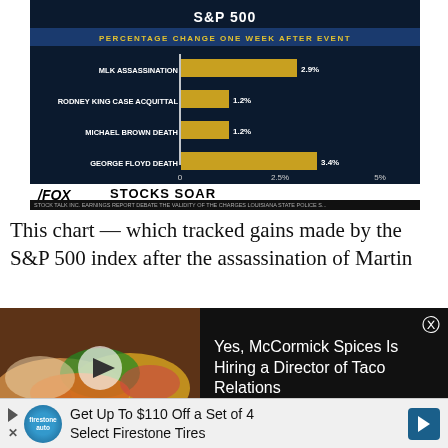[Figure (bar-chart): S&P 500 — Percentage Change One Week After Event]
This chart — which tracked gains made by the S&P 500 index after the assassination of Martin
[Figure (screenshot): Video ad overlay showing tacos with play button. Title: Yes, McCormick Spices Is Hiring a Director of Taco Relations]
[Figure (infographic): Bottom advertisement banner: Get Up To $110 Off a Set of 4 Select Firestone Tires, with Firestone auto logo and navigation arrow]